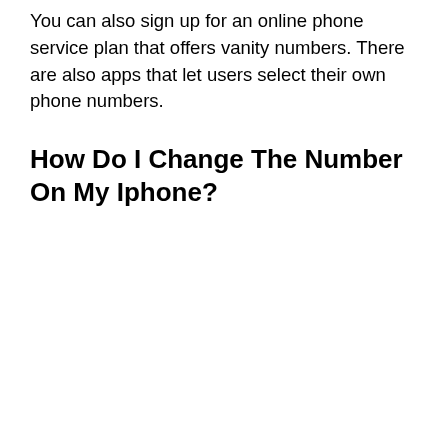You can also sign up for an online phone service plan that offers vanity numbers. There are also apps that let users select their own phone numbers.
How Do I Change The Number On My Iphone?